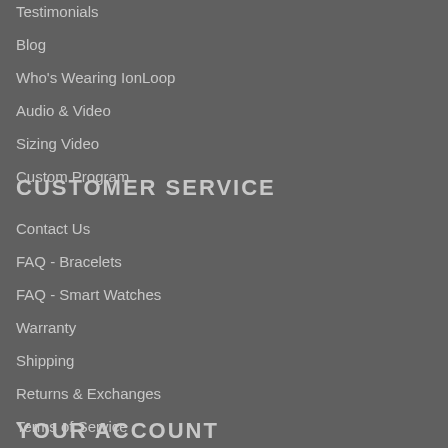Testimonials
Blog
Who's Wearing IonLoop
Audio & Video
Sizing Video
Custom Program
CUSTOMER SERVICE
Contact Us
FAQ - Bracelets
FAQ - Smart Watches
Warranty
Shipping
Returns & Exchanges
Terms of Service
Privacy Policy
YOUR ACCOUNT